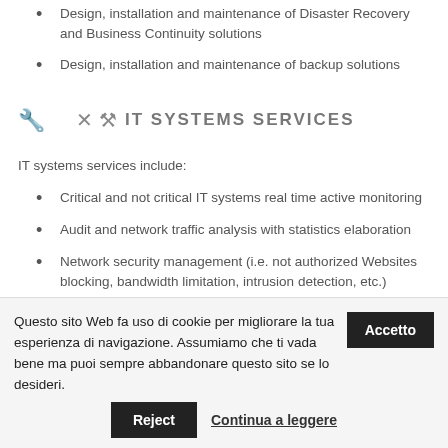Design, installation and maintenance of Disaster Recovery and Business Continuity solutions
Design, installation and maintenance of backup solutions
IT SYSTEMS SERVICES
IT systems services include:
Critical and not critical IT systems real time active monitoring
Audit and network traffic analysis with statistics elaboration
Network security management (i.e. not authorized Websites blocking, bandwidth limitation, intrusion detection, etc.)
Questo sito Web fa uso di cookie per migliorare la tua esperienza di navigazione. Assumiamo che ti vada bene ma puoi sempre abbandonare questo sito se lo desideri.
Reject
Continua a leggere
Accetto